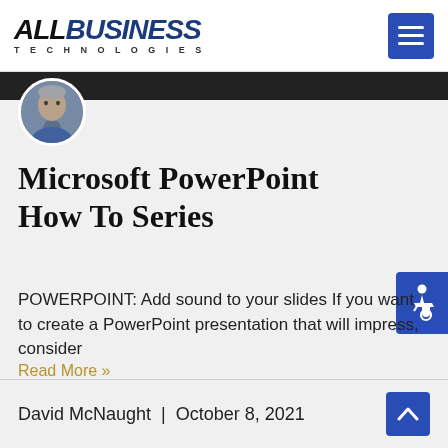ALL BUSINESS TECHNOLOGIES
[Figure (photo): Circular avatar photo of a man in a blue hoodie]
Microsoft PowerPoint How To Series
POWERPOINT: Add sound to your slides If you want to create a PowerPoint presentation that will impress, consider
Read More »
David McNaught | October 8, 2021